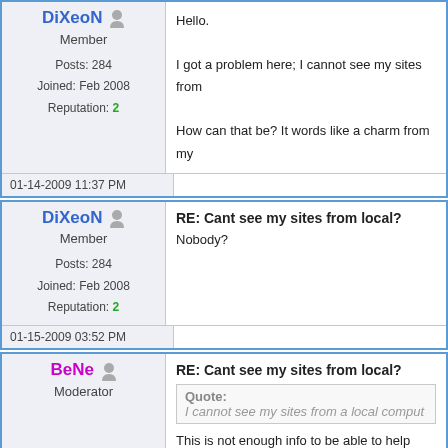DiXeoN — Member — Posts: 284 — Joined: Feb 2008 — Reputation: 2
Hello.

I got a problem here; I cannot see my sites from...

How can that be? It words like a charm from my...
01-14-2009 11:37 PM
DiXeoN — Member — Posts: 284 — Joined: Feb 2008 — Reputation: 2
RE: Cant see my sites from local?
Nobody?
01-15-2009 03:52 PM
BeNe — Moderator — Posts: 5,899 — Joined: Jan 2007 — Reputation: 80+
RE: Cant see my sites from local?
Quote: I cannot see my sites from a local comput...
This is not enough info to be able to help you! Can you ping the Server via IP ? Via DNS ? Did you try to access ispCP with a FQDN ? Is th... What happens if you type the IP From the Ser...